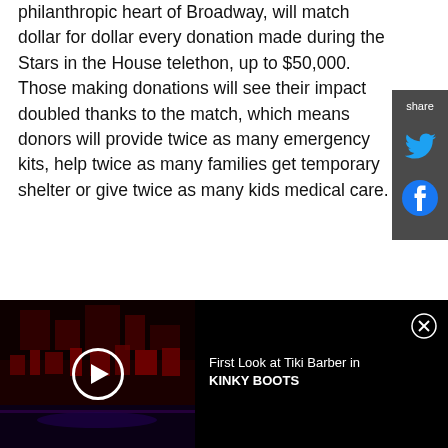philanthropic heart of Broadway, will match dollar for dollar every donation made during the Stars in the House telethon, up to $50,000. Those making donations will see their impact doubled thanks to the match, which means donors will provide twice as many emergency kits, help twice as many families get temporary shelter or give twice as many kids medical care.
[Figure (screenshot): Share sidebar with Twitter and Facebook icons on dark gray background]
[Figure (screenshot): Video thumbnail showing a dark stage scene with red lighting for Kinky Boots, with a play button overlay. Text reads: First Look at Tiki Barber in KINKY BOOTS]